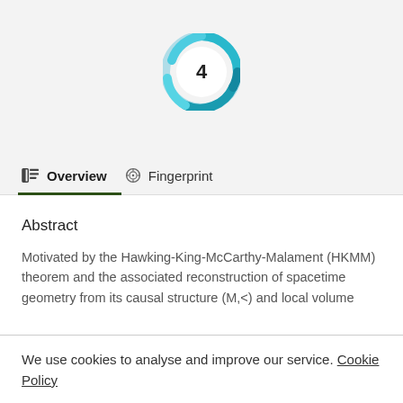[Figure (infographic): Altmetric donut badge showing score of 4 with teal/blue swirl ring on light grey background]
Overview   Fingerprint
Abstract
Motivated by the Hawking-King-McCarthy-Malament (HKMM) theorem and the associated reconstruction of spacetime geometry from its causal structure (M,<) and local volume
We use cookies to analyse and improve our service. Cookie Policy